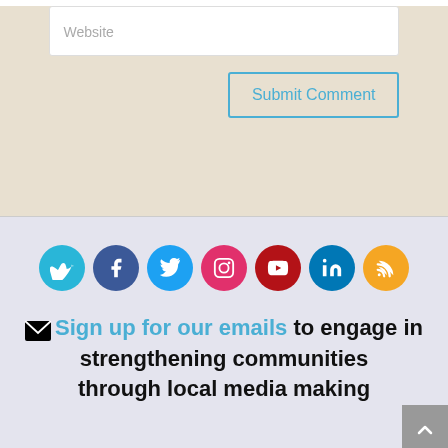Website
Submit Comment
[Figure (infographic): Row of social media icon circles: Vimeo, Facebook, Twitter, Instagram, YouTube, LinkedIn, RSS]
Sign up for our emails to engage in strengthening communities through local media making